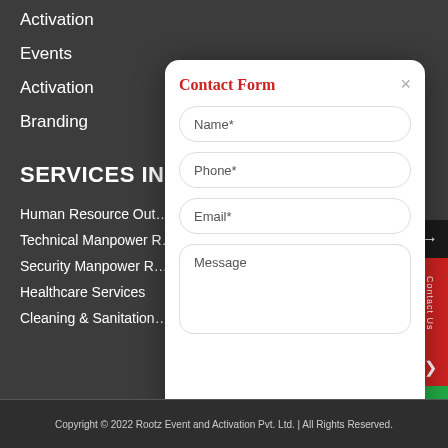Activation
Events
Activation
Branding
SERVICES IN M…
Human Resource Out…
Technical Manpower R…
Security Manpower R…
Healthcare Services
Cleaning & Sanitation…
[Figure (screenshot): Contact Form modal dialog with Name*, Phone*, Email* fields and a Message textarea, plus a close (×) button, displayed over a dark navigation menu background. Red title text reads 'Contact Form'.]
Copyright © 2022 Rootz Event and Activation Pvt. Ltd. | All Rights Reserved.